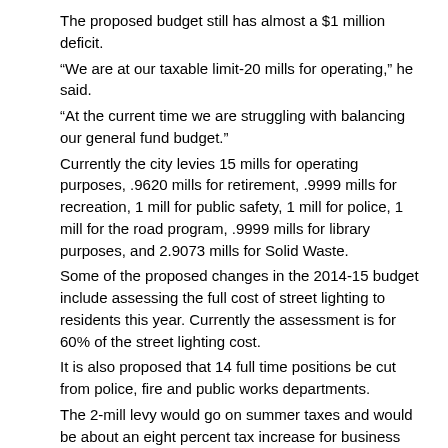The proposed budget still has almost a $1 million deficit.
“We are at our taxable limit-20 mills for operating,” he said.
“At the current time we are struggling with balancing our general fund budget.”
Currently the city levies 15 mills for operating purposes, .9620 mills for retirement, .9999 mills for recreation, 1 mill for public safety, 1 mill for police, 1 mill for the road program, .9999 mills for library purposes, and 2.9073 mills for Solid Waste.
Some of the proposed changes in the 2014-15 budget include assessing the full cost of street lighting to residents this year. Currently the assessment is for 60% of the street lighting cost.
It is also proposed that 14 full time positions be cut from police, fire and public works departments.
The 2-mill levy would go on summer taxes and would be about an eight percent tax increase for business owners. It will be assessed for one year.
“City council has to approve it year by year,” said McInerney.
The proposed plan is to transfer $933,000 into the general fund from the DDA and  $394,000 be used for debt owed on the fire station.
The DDA will no longer provide funds for the State Wayne Theater, Wayne Public Library or Wayne Farmers Market.